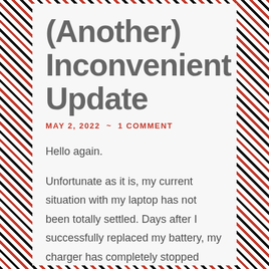(Another) Inconvenient Update
MAY 2, 2022  ~  1 COMMENT
Hello again.
Unfortunate as it is, my current situation with my laptop has not been totally settled. Days after I successfully replaced my battery, my charger has completely stopped charging the laptop. After attempting to buy two…